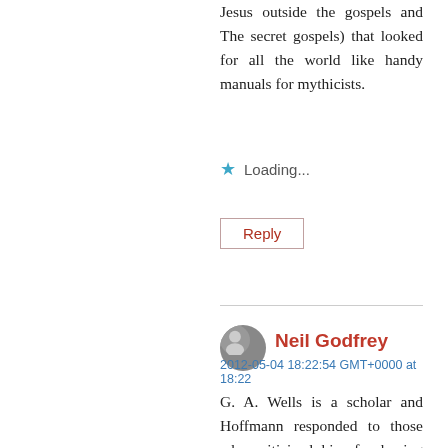Jesus outside the gospels and The secret gospels) that looked for all the world like handy manuals for mythicists.
Loading...
Reply
Neil Godfrey
2012-05-04 18:22:54 GMT+0000 at 18:22
G. A. Wells is a scholar and Hoffmann responded to those who criticized him for having the wrong credentials by pointing out that his professorial appointment in German made him closer to German theology than many Anglo-American